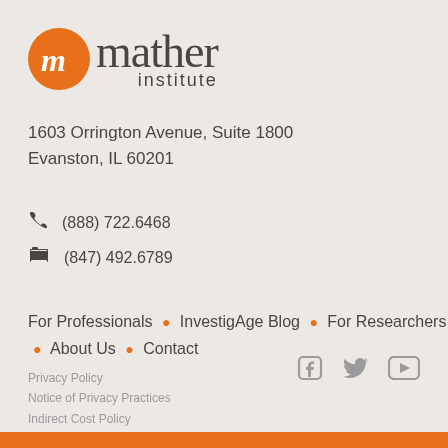[Figure (logo): Mather Institute logo with orange circle containing stylized 'm' letter and cursive/script text 'mather institute']
1603 Orrington Avenue, Suite 1800
Evanston, IL 60201
(888) 722.6468
(847) 492.6789
For Professionals • InvestigAge Blog • For Researchers • About Us • Contact
[Figure (logo): Social media icons: Facebook, Twitter, YouTube in gray]
Privacy Policy
Notice of Privacy Practices
Indirect Cost Policy